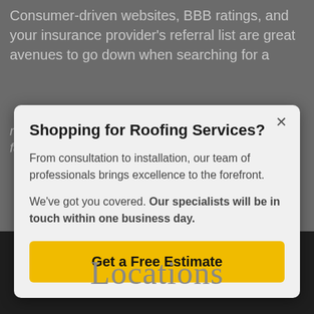Consumer-driven websites, BBB ratings, and your insurance provider's referral list are great avenues to go down when searching for a reputable roofer. The risk is also a great factor in this area. While not completely and...
[Figure (screenshot): Modal popup dialog for roofing services advertisement with title 'Shopping for Roofing Services?', body text about consultation and free estimate, and a yellow CTA button.]
Shopping for Roofing Services?
From consultation to installation, our team of professionals brings excellence to the forefront.
We've got you covered. Our specialists will be in touch within one business day.
Get a Free Estimate
Locations